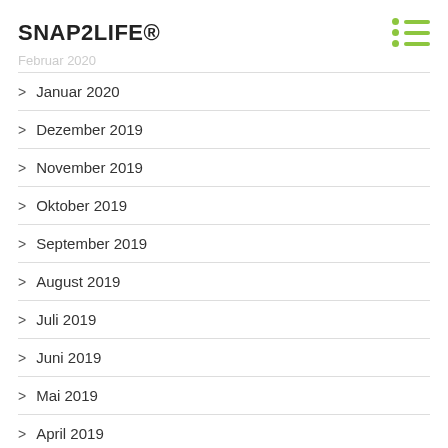SNAP2LIFE®
Februar 2020
> Januar 2020
> Dezember 2019
> November 2019
> Oktober 2019
> September 2019
> August 2019
> Juli 2019
> Juni 2019
> Mai 2019
> April 2019
> März 2019